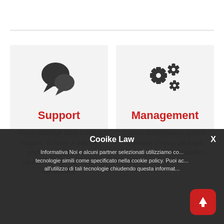[Figure (illustration): Two speech bubble icons representing Support, dark grey color]
Support
All our package have a basic support. To have a support priority on your server, please talk with our sales department.
[Figure (illustration): Two gear/cog icons representing Management, dark grey color]
Management
Cpanel Management system is always on your package, implemented with Fantastico system on your package.
Cooike Law
Informativa Noi e alcuni partner selezionati utilizziamo cookie o tecnologie simili come specificato nella cookie policy. Puoi acconsentire all'utilizzo di tali tecnologie chiudendo questa informativa.